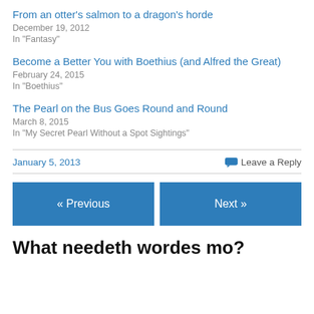From an otter's salmon to a dragon's horde
December 19, 2012
In "Fantasy"
Become a Better You with Boethius (and Alfred the Great)
February 24, 2015
In "Boethius"
The Pearl on the Bus Goes Round and Round
March 8, 2015
In "My Secret Pearl Without a Spot Sightings"
January 5, 2013
Leave a Reply
« Previous
Next »
What needeth wordes mo?